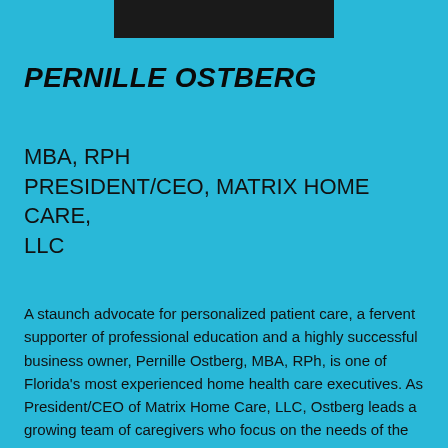[Figure (photo): Dark photo bar at the top of the page, partially cropped]
PERNILLE OSTBERG
MBA, RPH
PRESIDENT/CEO, MATRIX HOME CARE, LLC
A staunch advocate for personalized patient care, a fervent supporter of professional education and a highly successful business owner, Pernille Ostberg, MBA, RPh, is one of Florida's most experienced home health care executives. As President/CEO of Matrix Home Care, LLC, Ostberg leads a growing team of caregivers who focus on the needs of the patient in the home setting. There will never be a substitute for